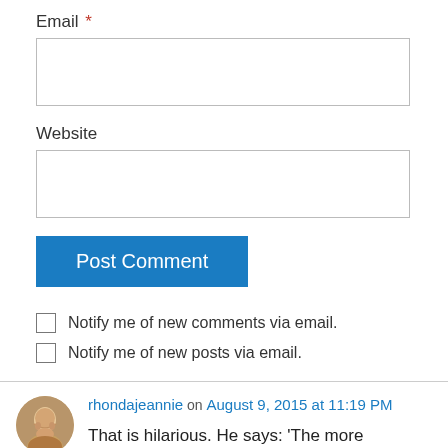Email *
Website
Post Comment
Notify me of new comments via email.
Notify me of new posts via email.
rhondajeannie on August 9, 2015 at 11:19 PM
That is hilarious. He says: ‘The more physicality introduced into the relationship, the more you’re